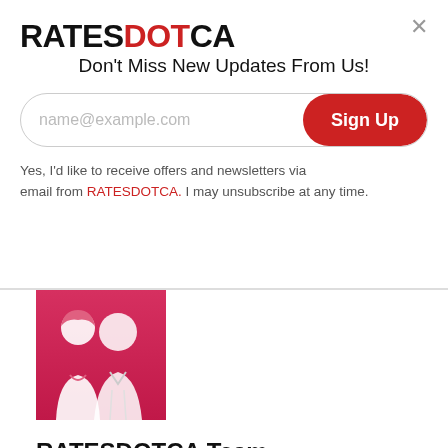[Figure (logo): RATESDOTCA logo with RATES and CA in black, DOT in red]
Don't Miss New Updates From Us!
name@example.com [input field] Sign Up [button]
Yes, I'd like to receive offers and newsletters via email from RATESDOTCA. I may unsubscribe at any time.
[Figure (illustration): Two people silhouette illustration on a pink/red gradient background representing the RATESDOTCA team]
RATESDOTCA Team
The RATESDOTCA editorial team are experienced writers focused on sharing stories and bringing you the latest news in insurance and personal finance. Our goal is to provide Canadians with the